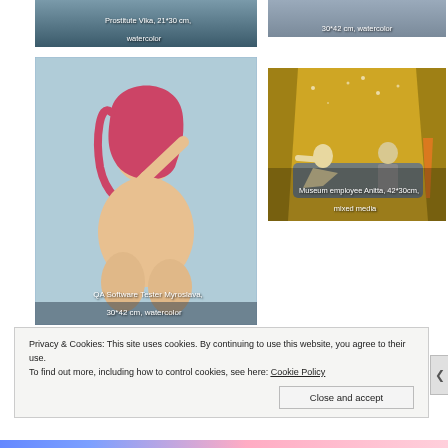[Figure (photo): Partial view of artwork top-left: Prostitute Vika, 21*30 cm, watercolor]
Prostitute Vika, 21*30 cm, watercolor
[Figure (photo): Partial view of artwork top-right: 30*42 cm, watercolor]
30*42 cm, watercolor
[Figure (illustration): QA Software Tester Myroslava, 30*42 cm, watercolor - nude figure watercolor painting]
QA Software Tester Myroslava, 30*42 cm, watercolor
[Figure (photo): Museum employee Anitta, 42*30cm, mixed media - scene with figures in museum setting]
Museum employee Anitta, 42*30cm, mixed media
Privacy & Cookies: This site uses cookies. By continuing to use this website, you agree to their use.
To find out more, including how to control cookies, see here: Cookie Policy
Close and accept